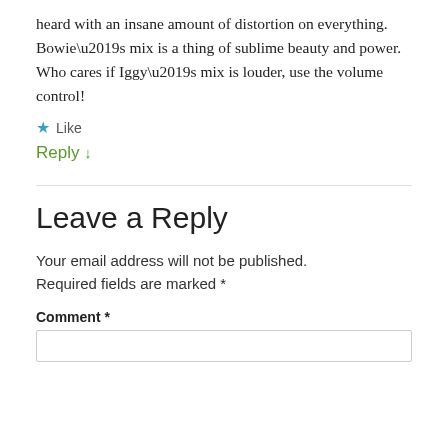heard with an insane amount of distortion on everything.
Bowie’s mix is a thing of sublime beauty and power.
Who cares if Iggy’s mix is louder, use the volume control!
★ Like
Reply ↓
Leave a Reply
Your email address will not be published. Required fields are marked *
Comment *